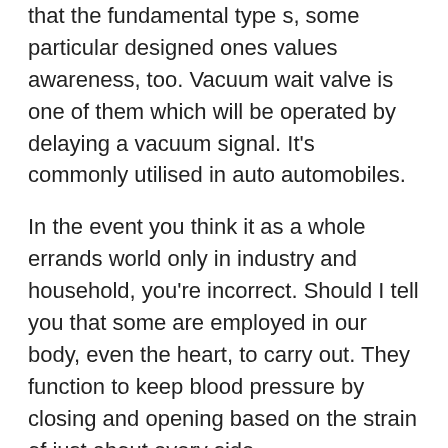that the fundamental type s, some particular designed ones values awareness, too. Vacuum wait valve is one of them which will be operated by delaying a vacuum signal. It's commonly utilised in auto automobiles.
In the event you think it as a whole errands world only in industry and household, you're incorrect. Should I tell you that some are employed in our body, even the heart, to carry out. They function to keep blood pressure by closing and opening based on the strain of just about every side.
Since they are so closely related together with all our life. Possessing a superb understanding of those fundamental mechanical stuff benefits lots of.
If You Wish to Know More about the mechanical Understanding, please affirm at seekpart
SeekPart.com may be your international B2B platform in